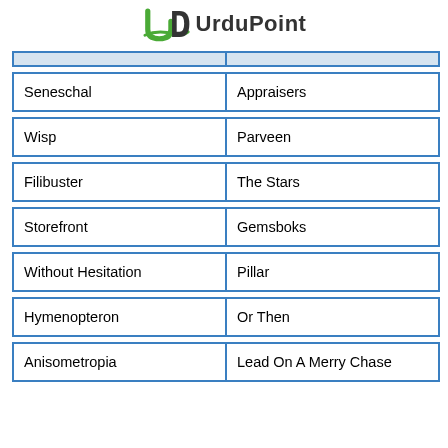UrduPoint
| Seneschal | Appraisers |
| Wisp | Parveen |
| Filibuster | The Stars |
| Storefront | Gemsboks |
| Without Hesitation | Pillar |
| Hymenopteron | Or Then |
| Anisometropia | Lead On A Merry Chase |